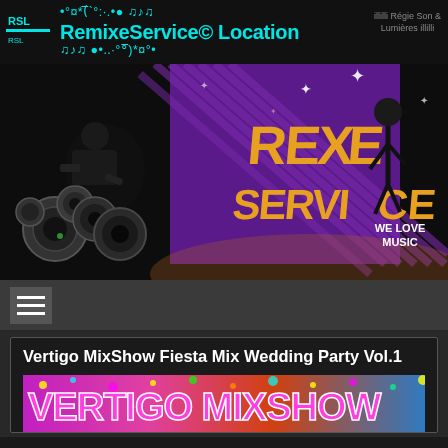illilli Régie Son & Lumières illilli
•°¤*(¯`°:·.•● ♫♪♫ RemixeService© Location ♫♪♫ ●•..·°°¯)°¤°•
[Figure (illustration): RemixeService banner with DJ silhouette, speakers, purple striped background with gold REMIXE SERVICE logo text and WE LOVE MUSIC text, dancing figure silhouette on right]
[Figure (illustration): Hamburger/menu icon button (three horizontal lines) on dark grey navigation bar]
Vertigo MixShow Fiesta Mix Wedding Party Vol.1
[Figure (illustration): Vertigo MixShow colorful party banner with festive text at bottom of page]